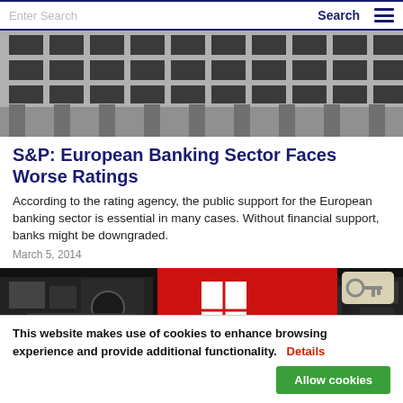Enter Search | Search
[Figure (photo): Exterior of a large modern building with concrete columns and rectangular windows, black and white photo]
S&P: European Banking Sector Faces Worse Ratings
According to the rating agency, the public support for the European banking sector is essential in many cases. Without financial support, banks might be downgraded.
March 5, 2014
[Figure (photo): Black and white industrial machinery background with a red and white logo/shield in the center, and a key icon overlay]
This website makes use of cookies to enhance browsing experience and provide additional functionality. Details Allow cookies